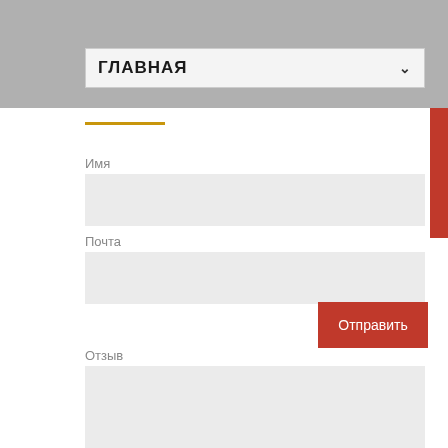ГЛАВНАЯ
Имя
[Figure (other): Text input field for name (empty, gray background)]
Почта
[Figure (other): Text input field for email (empty, gray background)]
Отправить
Отзыв
[Figure (other): Text area field for review/feedback (empty, gray background)]